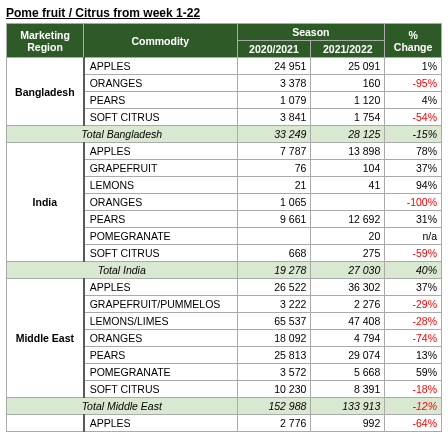Pome fruit / Citrus from week 1-22
| Marketing Region | Commodity | 2020/2021 | 2021/2022 | % Change |
| --- | --- | --- | --- | --- |
| Bangladesh | APPLES | 24 951 | 25 091 | 1% |
|  | ORANGES | 3 378 | 160 | -95% |
|  | PEARS | 1 079 | 1 120 | 4% |
|  | SOFT CITRUS | 3 841 | 1 754 | -54% |
| Total Bangladesh |  | 33 249 | 28 125 | -15% |
| India | APPLES | 7 787 | 13 898 | 78% |
|  | GRAPEFRUIT | 76 | 104 | 37% |
|  | LEMONS | 21 | 41 | 94% |
|  | ORANGES | 1 065 |  | -100% |
|  | PEARS | 9 661 | 12 692 | 31% |
|  | POMEGRANATE |  | 20 | n/a |
|  | SOFT CITRUS | 668 | 275 | -59% |
| Total India |  | 19 278 | 27 030 | 40% |
| Middle East | APPLES | 26 522 | 36 302 | 37% |
|  | GRAPEFRUIT/PUMMELOS | 3 222 | 2 276 | -29% |
|  | LEMONS/LIMES | 65 537 | 47 408 | -28% |
|  | ORANGES | 18 092 | 4 794 | -74% |
|  | PEARS | 25 813 | 29 074 | 13% |
|  | POMEGRANATE | 3 572 | 5 668 | 59% |
|  | SOFT CITRUS | 10 230 | 8 391 | -18% |
| Total Middle East |  | 152 988 | 133 913 | -12% |
|  | APPLES | 2 776 | 992 | -64% |